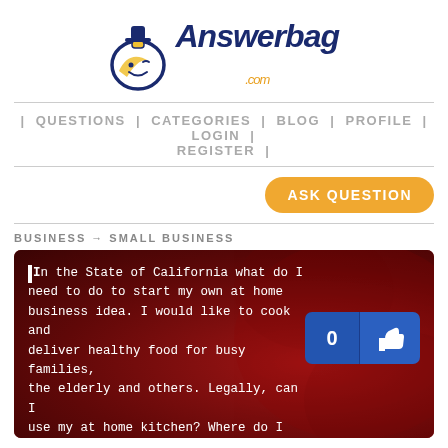[Figure (logo): Answerbag.com logo with a stylized smiley face bag character and the text Answerbag .com]
| QUESTIONS | CATEGORIES | BLOG | PROFILE | LOGIN | REGISTER |
[Figure (other): ASK QUESTION button in orange/yellow rounded rectangle]
BUSINESS → SMALL BUSINESS
In the State of California what do I need to do to start my own at home business idea. I would like to cook and deliver healthy food for busy families, the elderly and others. Legally, can I use my at home kitchen? Where do I start legally speaking?